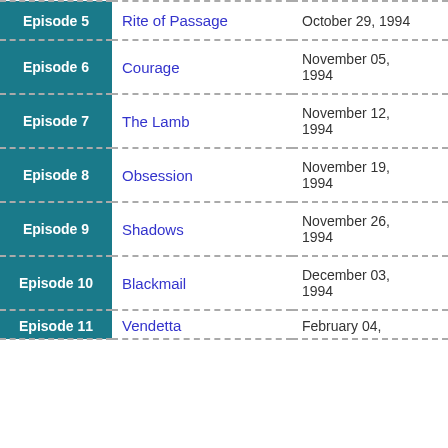| Episode | Title | Air Date |
| --- | --- | --- |
| Episode 5 | Rite of Passage | October 29, 1994 |
| Episode 6 | Courage | November 05, 1994 |
| Episode 7 | The Lamb | November 12, 1994 |
| Episode 8 | Obsession | November 19, 1994 |
| Episode 9 | Shadows | November 26, 1994 |
| Episode 10 | Blackmail | December 03, 1994 |
| Episode 11 | Vendetta | February 04, ... |